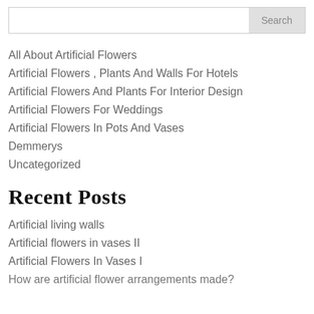Search (search bar)
All About Artificial Flowers
Artificial Flowers , Plants And Walls For Hotels
Artificial Flowers And Plants For Interior Design
Artificial Flowers For Weddings
Artificial Flowers In Pots And Vases
Demmerys
Uncategorized
Recent Posts
Artificial living walls
Artificial flowers in vases II
Artificial Flowers In Vases I
How are artificial flower arrangements made?